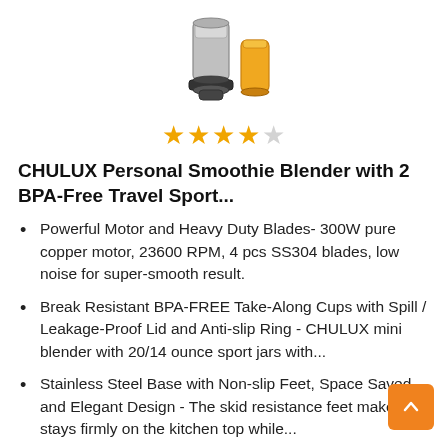[Figure (photo): Product photo of CHULUX personal blender with two sport cups, one silver/black blender base and one yellow cup]
[Figure (other): 4 out of 5 star rating shown as gold stars]
CHULUX Personal Smoothie Blender with 2 BPA-Free Travel Sport...
Powerful Motor and Heavy Duty Blades- 300W pure copper motor, 23600 RPM, 4 pcs SS304 blades, low noise for super-smooth result.
Break Resistant BPA-FREE Take-Along Cups with Spill / Leakage-Proof Lid and Anti-slip Ring - CHULUX mini blender with 20/14 ounce sport jars with...
Stainless Steel Base with Non-slip Feet, Space Saved and Elegant Design - The skid resistance feet makes it stays firmly on the kitchen top while...
Convenient and Healthy Beverage Maker - The on-